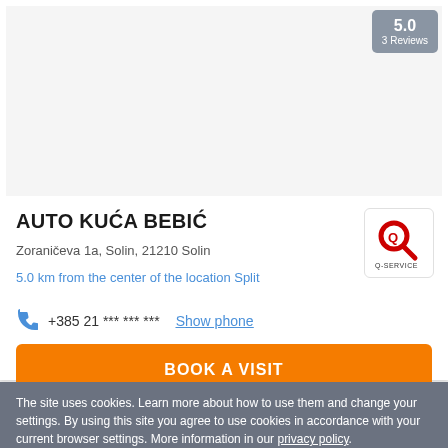[Figure (photo): Gray placeholder image area for auto dealer listing]
5.0
3 Reviews
AUTO KUĆA BEBIĆ
Zoraničeva 1a, Solin, 21210 Solin
5.0 km from the center of the location Split
[Figure (logo): Q-SERVICE logo in red and black]
+385 21 *** *** ***  Show phone
BOOK A VISIT
The site uses cookies. Learn more about how to use them and change your settings. By using this site you agree to use cookies in accordance with your current browser settings. More information in our privacy policy.
OK